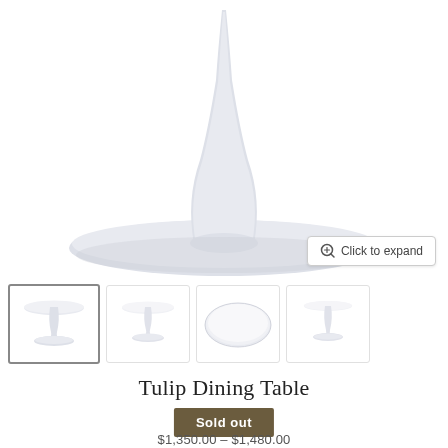[Figure (photo): Tulip dining table pedestal base and stem, white, viewed from slightly above. The oval/round white table base with elegant tulip-shaped single pedestal stem is shown cropped, with only the base and lower portion of the top visible.]
[Figure (photo): Four thumbnail images of the Tulip Dining Table from different angles: full table view (active/selected with border), side view smaller, top-down view of table surface, and front minimal view.]
Tulip Dining Table
Sold out
$1,350.00 - $1,480.00